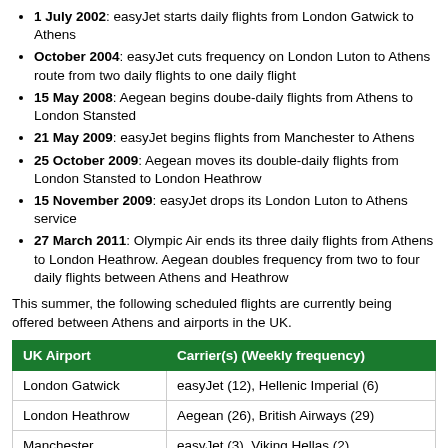1 July 2002: easyJet starts daily flights from London Gatwick to Athens
October 2004: easyJet cuts frequency on London Luton to Athens route from two daily flights to one daily flight
15 May 2008: Aegean begins doube-daily flights from Athens to London Stansted
21 May 2009: easyJet begins flights from Manchester to Athens
25 October 2009: Aegean moves its double-daily flights from London Stansted to London Heathrow
15 November 2009: easyJet drops its London Luton to Athens service
27 March 2011: Olympic Air ends its three daily flights from Athens to London Heathrow. Aegean doubles frequency from two to four daily flights between Athens and Heathrow
This summer, the following scheduled flights are currently being offered between Athens and airports in the UK.
| UK Airport | Carrier(s) (Weekly frequency) |
| --- | --- |
| London Gatwick | easyJet (12), Hellenic Imperial (6) |
| London Heathrow | Aegean (26), British Airways (29) |
| Manchester | easyJet (3), Viking Hellas (2) |
Source: OAG Max Online, from the 1 August 2011